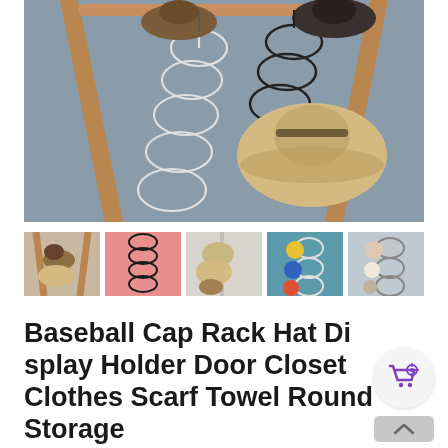[Figure (photo): Main product photo showing a hat rack with wooden A-frame stand. Two vertical wire organizers hang from the top bar — one white/silver spiral holding multiple hats on the left, one black spiral with a straw hat on the right. Gray background.]
[Figure (photo): Thumbnail 1: close-up of wooden rack with hats hanging]
[Figure (photo): Thumbnail 2: pink background with black wire rings/organizer]
[Figure (photo): Thumbnail 3: light gray background with hats on wire organizer]
[Figure (photo): Thumbnail 4: teal background with colorful pom-pom hats on wire]
[Figure (photo): Thumbnail 5: light background with hats on wire organizer]
Baseball Cap Rack Hat Display Holder Door Closet Clothes Scarf Towel Round Storage